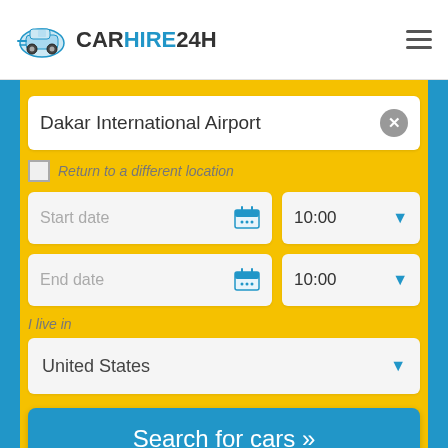[Figure (logo): CarHire24h logo with car icon and text]
Dakar International Airport
Return to a different location
Start date
10:00
End date
10:00
I live in
United States
Search for cars »